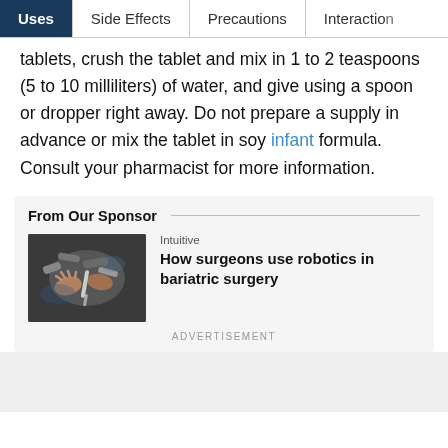Uses | Side Effects | Precautions | Interactions
tablets, crush the tablet and mix in 1 to 2 teaspoons (5 to 10 milliliters) of water, and give using a spoon or dropper right away. Do not prepare a supply in advance or mix the tablet in soy infant formula. Consult your pharmacist for more information.
From Our Sponsor
[Figure (photo): Hands of a surgeon using robotic surgical instruments in an operating room setting]
Intuitive
How surgeons use robotics in bariatric surgery
ADVERTISEMENT